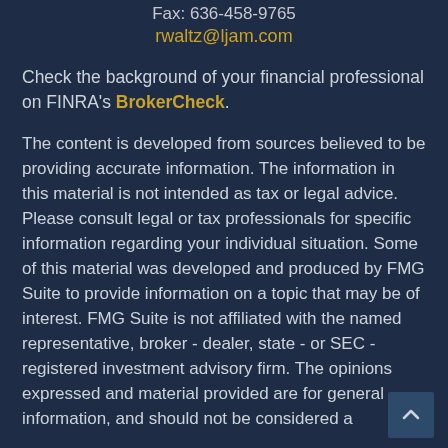Fax: 636-458-9765
rwaltz@ljam.com
Check the background of your financial professional on FINRA's BrokerCheck.
The content is developed from sources believed to be providing accurate information. The information in this material is not intended as tax or legal advice. Please consult legal or tax professionals for specific information regarding your individual situation. Some of this material was developed and produced by FMG Suite to provide information on a topic that may be of interest. FMG Suite is not affiliated with the named representative, broker - dealer, state - or SEC - registered investment advisory firm. The opinions expressed and material provided are for general information, and should not be considered a